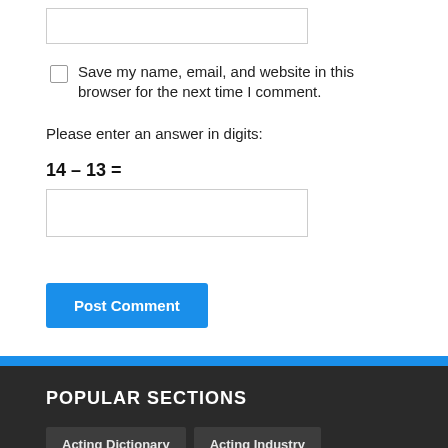Save my name, email, and website in this browser for the next time I comment.
Please enter an answer in digits:
Post Comment
POPULAR SECTIONS
Acting Dictionary
Acting Industry